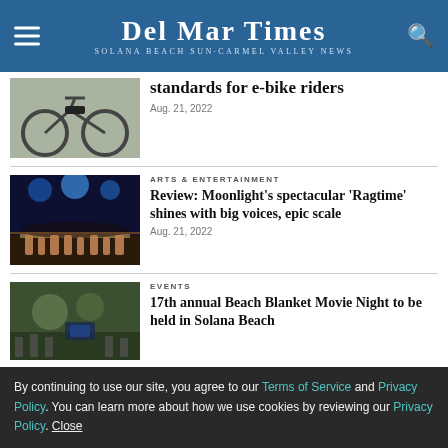Del Mar Times - Solana Beach Sun·Carmel Valley News
standards for e-bike riders
Aug. 21, 2022
ARTS & ENTERTAINMENT
Review: Moonlight's spectacular 'Ragtime' shines with big voices, epic scale
Aug. 21, 2022
EVENTS
17th annual Beach Blanket Movie Night to be held in Solana Beach
By continuing to use our site, you agree to our Terms of Service and Privacy Policy. You can learn more about how we use cookies by reviewing our Privacy Policy. Close